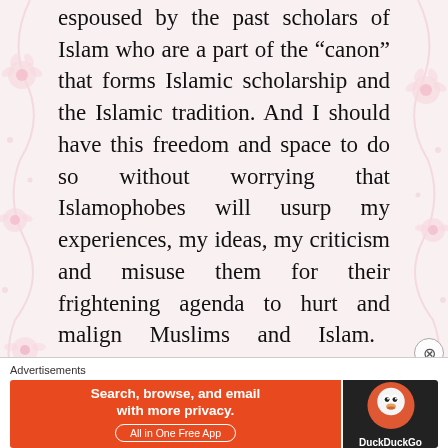espoused by the past scholars of Islam who are a part of the “canon” that forms Islamic scholarship and the Islamic tradition. And I should have this freedom and space to do so without worrying that Islamophobes will usurp my experiences, my ideas, my criticism and misuse them for their frightening agenda to hurt and malign Muslims and Islam. The
Advertisements
[Figure (other): DuckDuckGo advertisement banner: orange section with text 'Search, browse, and email with more privacy. All in One Free App' and dark section with DuckDuckGo logo]